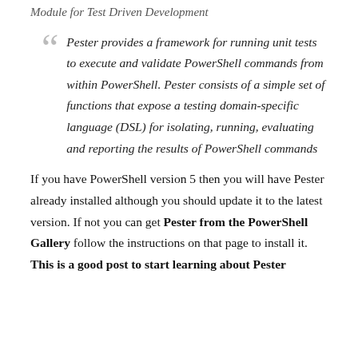Module for Test Driven Development
Pester provides a framework for running unit tests to execute and validate PowerShell commands from within PowerShell. Pester consists of a simple set of functions that expose a testing domain-specific language (DSL) for isolating, running, evaluating and reporting the results of PowerShell commands
If you have PowerShell version 5 then you will have Pester already installed although you should update it to the latest version. If not you can get Pester from the PowerShell Gallery follow the instructions on that page to install it. This is a good post to start learning about Pester